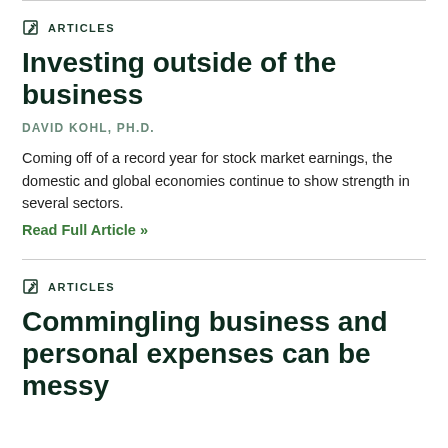ARTICLES
Investing outside of the business
DAVID KOHL, PH.D.
Coming off of a record year for stock market earnings, the domestic and global economies continue to show strength in several sectors.
Read Full Article »
ARTICLES
Commingling business and personal expenses can be messy